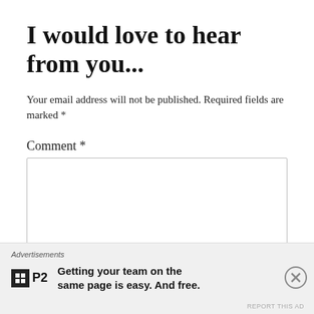I would love to hear from you...
Your email address will not be published. Required fields are marked *
Comment *
Name
[Figure (other): Advertisement banner at bottom of page showing 'Advertisements' label, P2 logo (black square with white grid icon and 'P2' text), and tagline 'Getting your team on the same page is easy. And free.' with a close (X) button and 'REPORT THIS AD' link.]